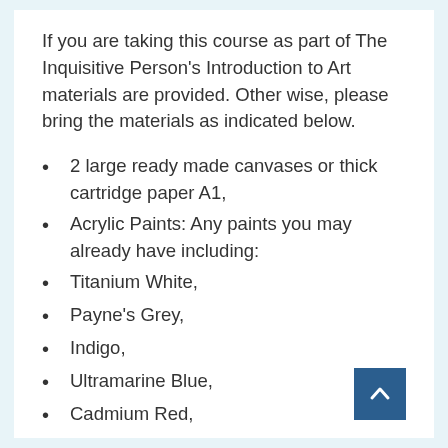If you are taking this course as part of The Inquisitive Person's Introduction to Art materials are provided. Other wise, please bring the materials as indicated below.
2 large ready made canvases or thick cartridge paper A1,
Acrylic Paints: Any paints you may already have including:
Titanium White,
Payne's Grey,
Indigo,
Ultramarine Blue,
Cadmium Red,